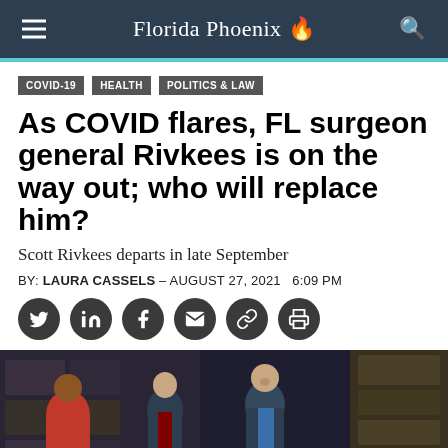Florida Phoenix
COVID-19
HEALTH
POLITICS & LAW
As COVID flares, FL surgeon general Rivkees is on the way out; who will replace him?
Scott Rivkees departs in late September
BY: LAURA CASSELS – AUGUST 27, 2021   6:09 PM
[Figure (photo): Photo of three people at a press briefing in a warehouse setting, including a woman in red on the left and two men in suits, one speaking at the center-right]